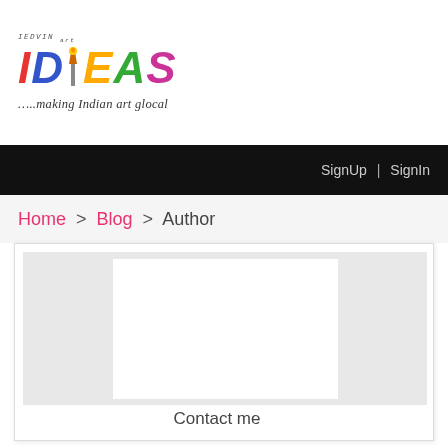[Figure (logo): IDEAS logo with colorful letters and tagline '…..making Indian art glocal']
SignUp | SignIn
Home > Blog > Author
[Figure (photo): Author profile photo placeholder (white rectangle on gray background)]
Contact me